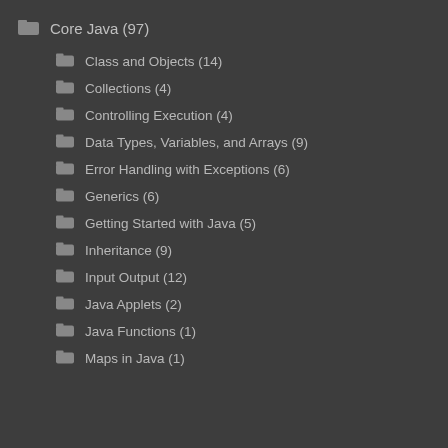Core Java (97)
Class and Objects (14)
Collections (4)
Controlling Execution (4)
Data Types, Variables, and Arrays (9)
Error Handling with Exceptions (6)
Generics (6)
Getting Started with Java (5)
Inheritance (9)
Input Output (12)
Java Applets (2)
Java Functions (1)
Maps in Java (1)